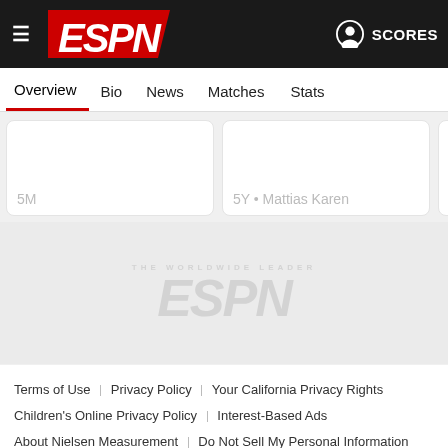ESPN — Overview Bio News Matches Stats — SCORES
5M
5Y • Mattias Karen
contract
6Y • Mattias Kare
[Figure (logo): ESPN watermark logo in light gray on gray background ad placeholder]
Terms of Use | Privacy Policy | Your California Privacy Rights | Children's Online Privacy Policy | Interest-Based Ads | About Nielsen Measurement | Do Not Sell My Personal Information | Contact Us | Disney Ad Sales Site | Work for ESPN
Copyright: © ESPN Enterprises, Inc. All rights reserved.